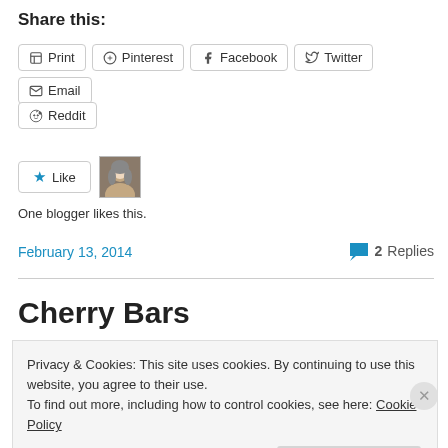Share this:
Print  Pinterest  Facebook  Twitter  Email  Reddit
[Figure (other): Like button with star icon and blogger avatar photo]
One blogger likes this.
February 13, 2014
💬 2 Replies
Cherry Bars
Privacy & Cookies: This site uses cookies. By continuing to use this website, you agree to their use.
To find out more, including how to control cookies, see here: Cookie Policy